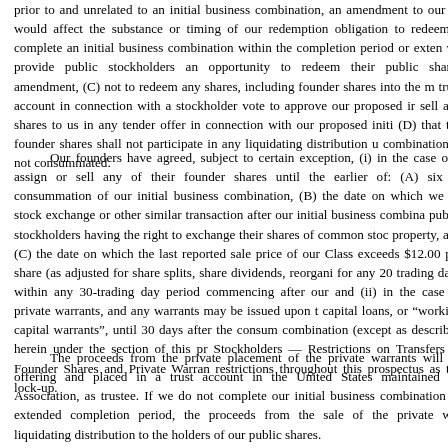prior to and unrelated to an initial business combination, an amendment to our certificate would affect the substance or timing of our redemption obligation to redeem a complete an initial business combination within the completion period or extended we provide public stockholders an opportunity to redeem their public shares amendment, (C) not to redeem any shares, including founder shares into the trust account in connection with a stockholder vote to approve our proposed ir sell any shares to us in any tender offer in connection with our proposed initi (D) that the founder shares shall not participate in any liquidating distribution combination is not consummated.
Our founders have agreed, subject to certain exception, (i) in the case of f assign or sell any of their founder shares until the earlier of: (A) six m consummation of our initial business combination, (B) the date on which we co stock exchange or other similar transaction after our initial business combina public stockholders having the right to exchange their shares of common stoc property, and (C) the date on which the last reported sale price of our Class exceeds $12.00 per share (as adjusted for share splits, share dividends, reorgani for any 20 trading days within any 30-trading day period commencing after our and (ii) in the case of private warrants, and any warrants may be issued upon t capital loans, or "working capital warrants", until 30 days after the consum combination (except as described herein under the section of this pr Stockholders — Restrictions on Transfers of Founder Shares and Private Warran restrictions throughout this prospectus as the lock-up.
The proceeds from the private placement of the private warrants will be offering and placed in a trust account in the United States maintained by Association, as trustee. If we do not complete our initial business combination or extended completion period, the proceeds from the sale of the private war liquidating distribution to the holders of our public shares.